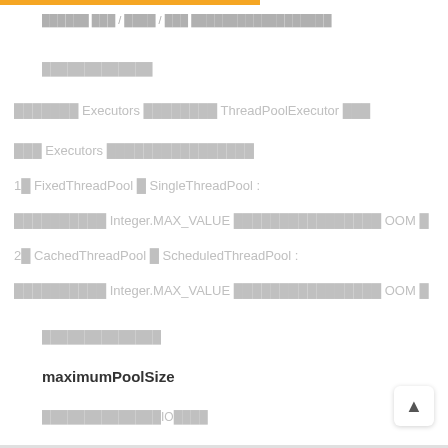██████ ███ / ████ / ███ ██████████████████
█████████████
███████ Executors ████████ ThreadPoolExecutor ███
███ Executors ████████████████
1█ FixedThreadPool █ SingleThreadPool :
██████████ Integer.MAX_VALUE ████████████████ OOM █
2█ CachedThreadPool █ ScheduledThreadPool :
██████████ Integer.MAX_VALUE ████████████████ OOM █
██████████████
maximumPoolSize
██████████████IO████